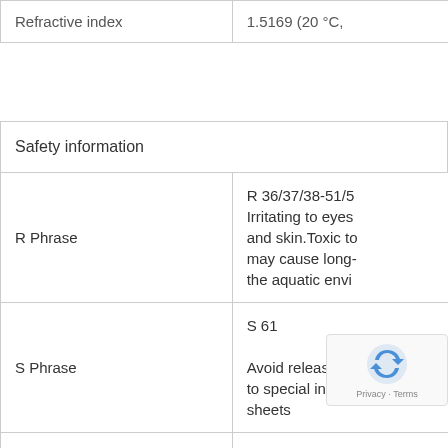|  |  |
| --- | --- |
| Refractive index | 1.5169 (20 °C,… |
| Safety information |  |
| R Phrase | R 36/37/38-51/5… Irritating to eyes and skin.Toxic to… may cause long-… the aquatic envi… |
| S Phrase | S 61
Avoid release to… to special instru… sheets… |
| Categories of danger | irritant… |